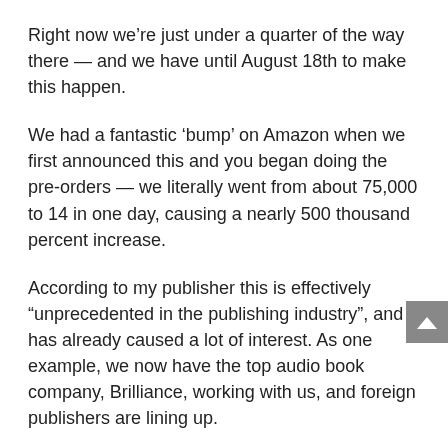Right now we’re just under a quarter of the way there — and we have until August 18th to make this happen.
We had a fantastic ‘bump’ on Amazon when we first announced this and you began doing the pre-orders — we literally went from about 75,000 to 14 in one day, causing a nearly 500 thousand percent increase.
According to my publisher this is effectively “unprecedented in the publishing industry”, and has already caused a lot of interest. As one example, we now have the top audio book company, Brilliance, working with us, and foreign publishers are lining up.
I’ll be recording all the voice parts for the book as of the last week in May — I won the rights to be the narrator — and will let you know when it becomes available for pre-ordering! Electronic versions — such as for the Kindle — will also be